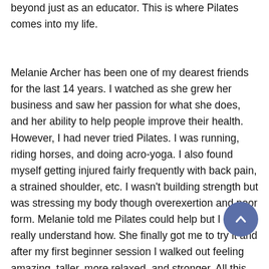beyond just as an educator.  This is where Pilates comes into my life.
Melanie Archer has been one of my dearest friends for the last 14 years.  I watched as she grew her business and saw her passion for what she does, and her ability to help people improve their health.  However, I had never tried Pilates. I was running, riding horses, and doing acro-yoga.  I also found myself getting injured fairly frequently with back pain, a strained shoulder, etc.  I wasn't building strength but was stressing my body though overexertion and poor form.  Melanie told me Pilates could help but I didn't really understand how.  She finally got me to try it and after my first beginner session I walked out feeling amazing, taller, more relaxed, and stronger.  All this after just one session!  I could say the rest is history…but that's just the beginning.